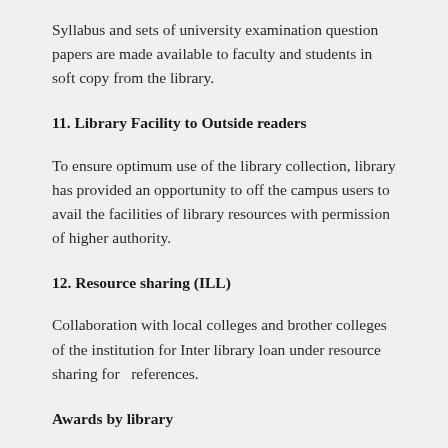Syllabus and sets of university examination question papers are made available to faculty and students in soft copy from the library.
11. Library Facility to Outside readers
To ensure optimum use of the library collection, library has provided an opportunity to off the campus users to avail the facilities of library resources with permission of higher authority.
12. Resource sharing (ILL)
Collaboration with local colleges and brother colleges of the institution for Inter library loan under resource sharing for  references.
Awards by library